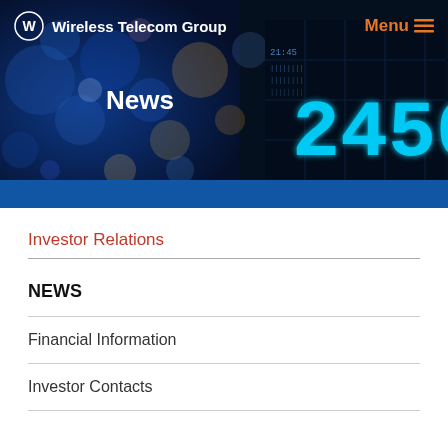[Figure (screenshot): Hero banner with dark blue bokeh background and a stock ticker display showing '2450' on the right side]
Wireless Telecom Group  Menu
News
Investor Relations
NEWS
Financial Information
Investor Contacts